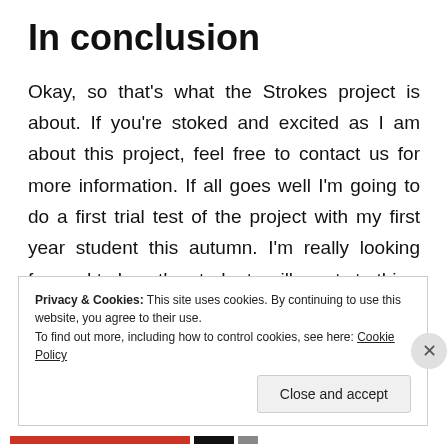In conclusion
Okay, so that's what the Strokes project is about. If you're stoked and excited as I am about this project, feel free to contact us for more information. If all goes well I'm going to do a first trial test of the project with my first year student this autumn. I'm really looking forward to how the students will reacts to this.
Privacy & Cookies: This site uses cookies. By continuing to use this website, you agree to their use.
To find out more, including how to control cookies, see here: Cookie Policy
Close and accept